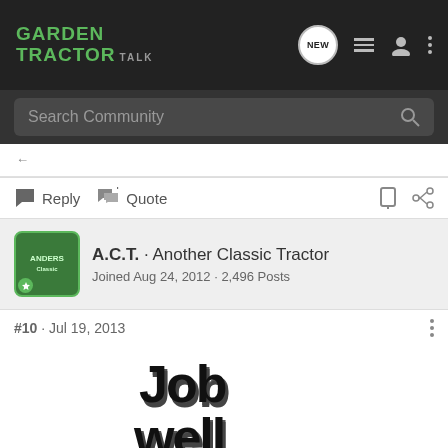Garden Tractor Talk — Search Community header bar
Reply  Quote
A.C.T. · Another Classic Tractor
Joined Aug 24, 2012 · 2,496 Posts
#10  ·  Jul 19, 2013
[Figure (illustration): Bold 3D black text reading 'Job well done!' partially visible, with heavy drop shadow effect]